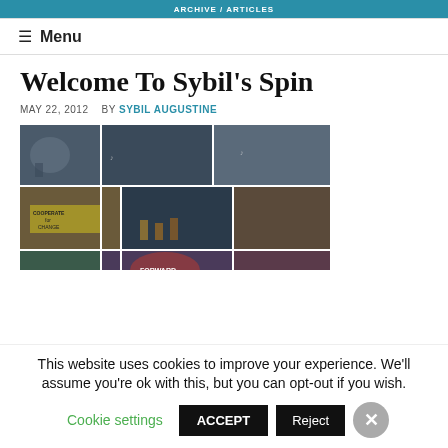ARCHIVE / ARTICLES
≡ Menu
Welcome To Sybil's Spin
MAY 22, 2012  BY SYBIL AUGUSTINE
[Figure (photo): Photo collage of protest/rally events showing multiple scenes: musicians playing guitar, crowds at demonstrations, performers on stage, people with signs including 'Cooperate for Change', political rallies with flags and banners]
This website uses cookies to improve your experience. We'll assume you're ok with this, but you can opt-out if you wish.
Cookie settings  ACCEPT  Reject